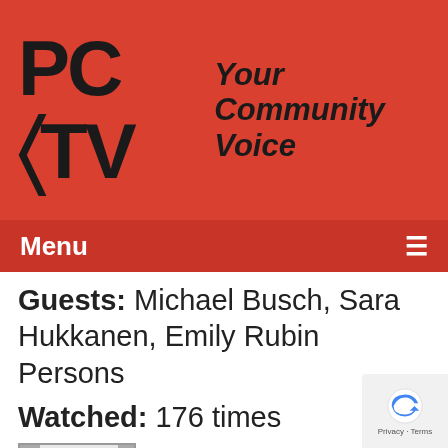[Figure (logo): PCTV logo with text 'Your Community Voice' on red background]
Menu ≡
Guests: Michael Busch, Sara Hukkanen, Emily Rubin Persons
Watched: 176 times
[Figure (screenshot): Thumbnail image of a presentation slide with a pie chart]
The Board of Education Meeting...